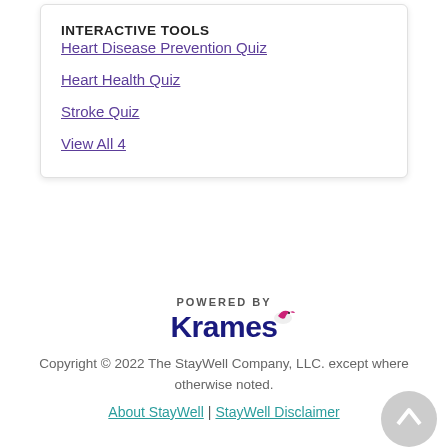INTERACTIVE TOOLS
Heart Disease Prevention Quiz
Heart Health Quiz
Stroke Quiz
View All 4
[Figure (logo): Powered by Krames logo with hummingbird icon]
Copyright © 2022 The StayWell Company, LLC. except where otherwise noted.
About StayWell | StayWell Disclaimer